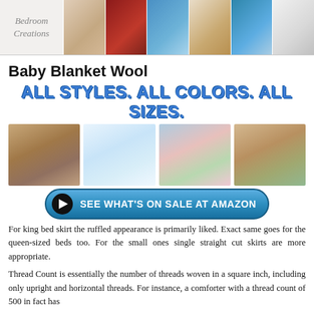[Figure (photo): Bedroom Creations header banner with logo and bedroom product photos]
Baby Blanket Wool
ALL STYLES. ALL COLORS. ALL SIZES.
[Figure (photo): Four product images: stacked plaid blankets, baby with white blanket, folded colorful blankets, packaged blankets]
[Figure (other): Blue button: SEE WHAT'S ON SALE AT AMAZON]
For king bed skirt the ruffled appearance is primarily liked. Exact same goes for the queen-sized beds too. For the small ones single straight cut skirts are more appropriate.
Thread Count is essentially the number of threads woven in a square inch, including only upright and horizontal threads. For instance, a comforter with a thread count of 500 in fact has